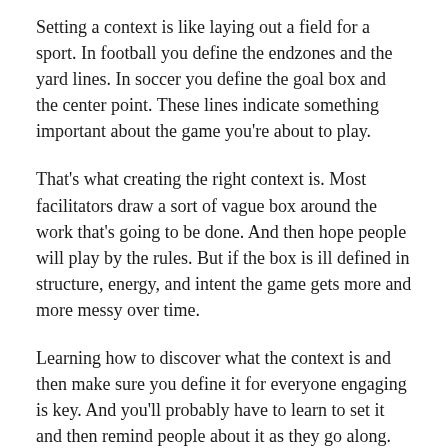Setting a context is like laying out a field for a sport. In football you define the endzones and the yard lines. In soccer you define the goal box and the center point. These lines indicate something important about the game you're about to play.
That's what creating the right context is. Most facilitators draw a sort of vague box around the work that's going to be done. And then hope people will play by the rules. But if the box is ill defined in structure, energy, and intent the game gets more and more messy over time.
Learning how to discover what the context is and then make sure you define it for everyone engaging is key. And you'll probably have to learn to set it and then remind people about it as they go along.